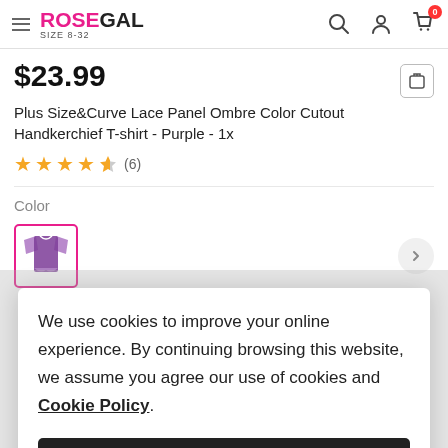ROSEGAL SIZE 8-32
$23.99
Plus Size&Curve Lace Panel Ombre Color Cutout Handkerchief T-shirt - Purple - 1x
★★★★½ (6)
Color
[Figure (illustration): Purple t-shirt color swatch thumbnail in a pink-bordered box]
We use cookies to improve your online experience. By continuing browsing this website, we assume you agree our use of cookies and Cookie Policy.
Agree